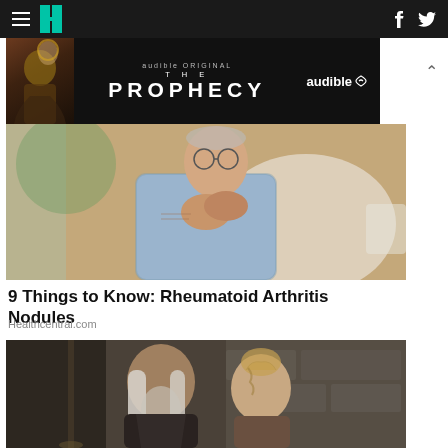HuffPost navigation with hamburger menu, logo, Facebook and Twitter icons
[Figure (screenshot): Audible Original 'The Prophecy' advertisement banner with dark background, character artwork on left, and Audible logo on right]
[Figure (photo): Elderly man with glasses sitting in a white chair, wearing a light blue plaid shirt, hands clasped together near his chin, in a home setting]
9 Things to Know: Rheumatoid Arthritis Nodules
Healthcentral.com
[Figure (photo): Two people in medieval fantasy costumes — a man with long white hair and beard in dark armor, and a woman with braided blonde hair — standing in front of a stone wall background]